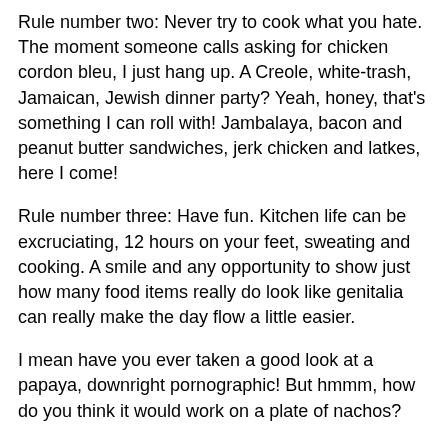Rule number two: Never try to cook what you hate. The moment someone calls asking for chicken cordon bleu, I just hang up. A Creole, white-trash, Jamaican, Jewish dinner party? Yeah, honey, that's something I can roll with! Jambalaya, bacon and peanut butter sandwiches, jerk chicken and latkes, here I come!
Rule number three: Have fun. Kitchen life can be excruciating, 12 hours on your feet, sweating and cooking. A smile and any opportunity to show just how many food items really do look like genitalia can really make the day flow a little easier.
I mean have you ever taken a good look at a papaya, downright pornographic! But hmmm, how do you think it would work on a plate of nachos?
Nacho-mama the basics
All my nacho plates start the same with a nice layer of good tortilla chips laid out on a baking platter. I like restaurant quality yellow tortilla chips myself but all work.
Over the chips, you can put a thousand combinations, but I'm partial